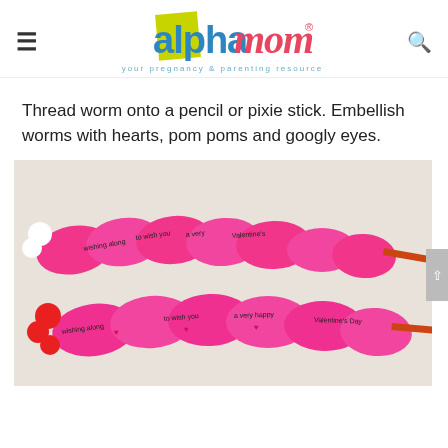alpha mom — your pregnancy & parenting resource
Thread worm onto a pencil or pixie stick. Embellish worms with hearts, pom poms and googly eyes.
[Figure (photo): Two pink paper worm craft projects threaded onto pencils, with text reading 'wishing along', 'to wish you', 'a very happy Valentine's Day' printed on the wavy paper segments. The top worm has white googly-eye pom poms and the bottom one has red pom poms.]